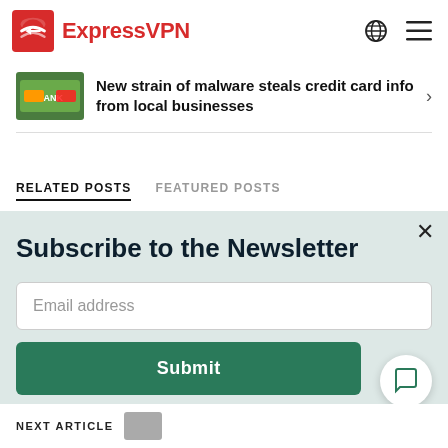ExpressVPN
New strain of malware steals credit card info from local businesses
RELATED POSTS   FEATURED POSTS
Subscribe to the Newsletter
Email address
Submit
NEXT ARTICLE